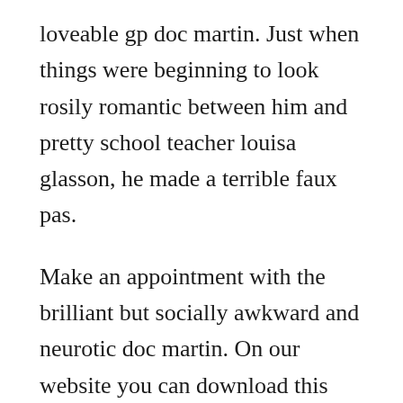loveable gp doc martin. Just when things were beginning to look rosily romantic between him and pretty school teacher louisa glasson, he made a terrible faux pas.
Make an appointment with the brilliant but socially awkward and neurotic doc martin. On our website you can download this season with webrip quality. Tv show doc martin season 1, 2, 3, 4, 5, 6, 7 download full episodes and watch in hd 720p, 1080p. The great doc martin viewing marathon rolls right along this week as we polish off series 2